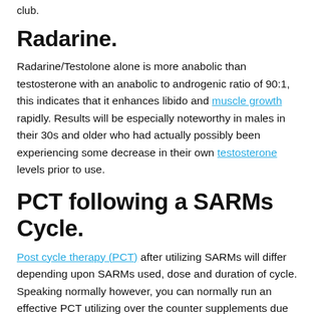club.
Radarine.
Radarine/Testolone alone is more anabolic than testosterone with an anabolic to androgenic ratio of 90:1, this indicates that it enhances libido and muscle growth rapidly. Results will be especially noteworthy in males in their 30s and older who had actually possibly been experiencing some decrease in their own testosterone levels prior to use.
PCT following a SARMs Cycle.
Post cycle therapy (PCT) after utilizing SARMs will differ depending upon SARMs used, dose and duration of cycle. Speaking normally however, you can normally run an effective PCT utilizing over the counter supplements due to